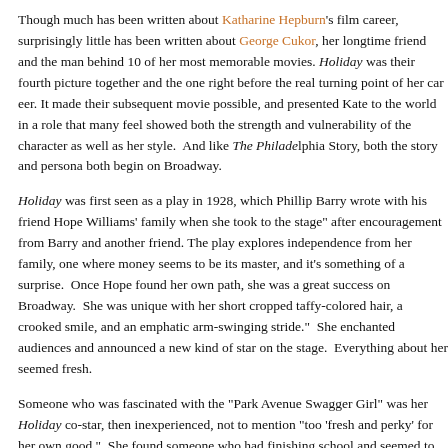Though much has been written about Katharine Hepburn's film career, surprisingly little has been written about George Cukor, her longtime friend and the man behind 10 of her most memorable movies. Holiday was their fourth picture together and the one right before the real turning point of her career. It made their subsequent movie possible, and presented Kate to the world in a role that many feel showed both the strength and vulnerability of the character as well as her style. And like The Philadelphia Story, both the story and persona both begin on Broadway.
Holiday was first seen as a play in 1928, which Phillip Barry wrote with his friend Hope Williams' family when she took to the stage after encouragement from Barry and another friend. The play explores independence from her family, one where money seems to be its master, and it's something of a surprise. Once Hope found her own path, she was a great success on Broadway. She was unique with her short cropped taffy-colored hair, a crooked smile, and an emphatic arm-swinging stride. She enchanted audiences and announced a new kind of star on the stage. Everything about her seemed fresh.
Someone who was fascinated with the "Park Avenue Swagger Girl" was her Holiday co-star, then inexperienced, not to mention "too 'fresh and perky' for her own good." She found someone who had finishing school and seemed to speak their own language. Hope and her friends were struck down by a horrendous case of the flu. As a result, Kate went on only once in all of Holiday's 22 performances. As part of Linda Seton, she found herself trying to imitate Hope Williams and became "the center of laughter." It was an "unsettling experience" for the young actress.
As a result, Kate's vocal coach Frances Robinson-Duff introduced her to Laura Hud...